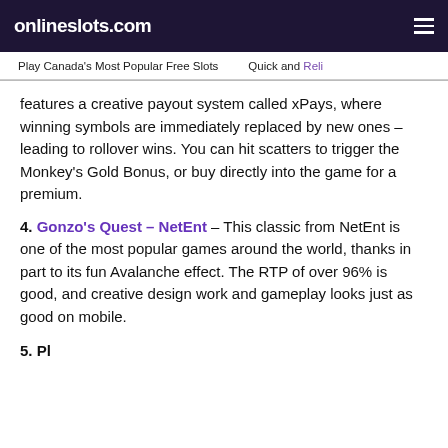onlineslots.com
Play Canada's Most Popular Free Slots   Quick and Reli
features a creative payout system called xPays, where winning symbols are immediately replaced by new ones - leading to rollover wins. You can hit scatters to trigger the Monkey's Gold Bonus, or buy directly into the game for a premium.
4. Gonzo's Quest – NetEnt - This classic from NetEnt is one of the most popular games around the world, thanks in part to its fun Avalanche effect. The RTP of over 96% is good, and creative design work and gameplay looks just as good on mobile.
5. Pharaoh's...